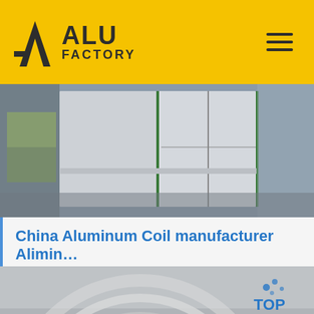ALU FACTORY
[Figure (photo): Industrial aluminum storage boxes or containers in a factory setting, white/grey colored large rectangular blocks on a warehouse floor]
China Aluminum Coil manufacturer Alimin…
Aluminum Coil Aluminum Sheet Aluminum Foil manufactur…
Get Price
[Figure (photo): Close-up of polished aluminum coil roll surface showing circular metallic texture]